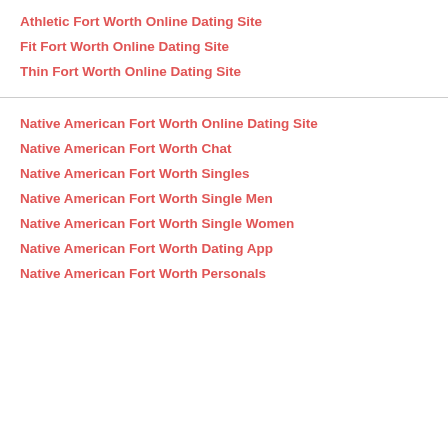Athletic Fort Worth Online Dating Site
Fit Fort Worth Online Dating Site
Thin Fort Worth Online Dating Site
Native American Fort Worth Online Dating Site
Native American Fort Worth Chat
Native American Fort Worth Singles
Native American Fort Worth Single Men
Native American Fort Worth Single Women
Native American Fort Worth Dating App
Native American Fort Worth Personals